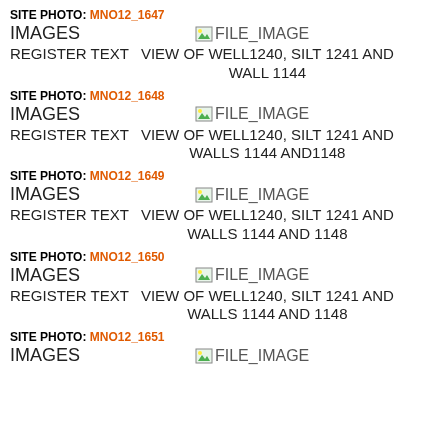SITE PHOTO: MNO12_1647
IMAGES   FILE_IMAGE
REGISTER TEXT   VIEW OF WELL1240, SILT 1241 AND WALL 1144
SITE PHOTO: MNO12_1648
IMAGES   FILE_IMAGE
REGISTER TEXT   VIEW OF WELL1240, SILT 1241 AND WALLS 1144 AND1148
SITE PHOTO: MNO12_1649
IMAGES   FILE_IMAGE
REGISTER TEXT   VIEW OF WELL1240, SILT 1241 AND WALLS 1144 AND 1148
SITE PHOTO: MNO12_1650
IMAGES   FILE_IMAGE
REGISTER TEXT   VIEW OF WELL1240, SILT 1241 AND WALLS 1144 AND 1148
SITE PHOTO: MNO12_1651
IMAGES   FILE_IMAGE